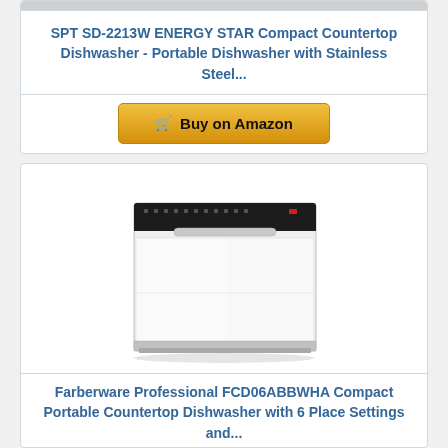SPT SD-2213W ENERGY STAR Compact Countertop Dishwasher - Portable Dishwasher with Stainless Steel...
[Figure (illustration): Buy on Amazon button with shopping cart icon]
[Figure (photo): Farberware Professional FCD06ABBWHA Compact Portable Countertop Dishwasher - white dishwasher with black control panel on top]
Farberware Professional FCD06ABBWHA Compact Portable Countertop Dishwasher with 6 Place Settings and...